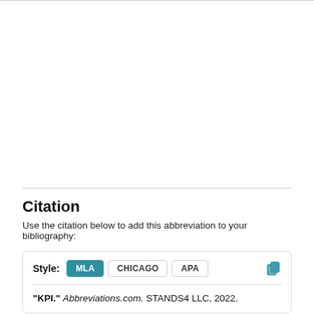Citation
Use the citation below to add this abbreviation to your bibliography:
Style: MLA CHICAGO APA
"KPI." Abbreviations.com. STANDS4 LLC, 2022.